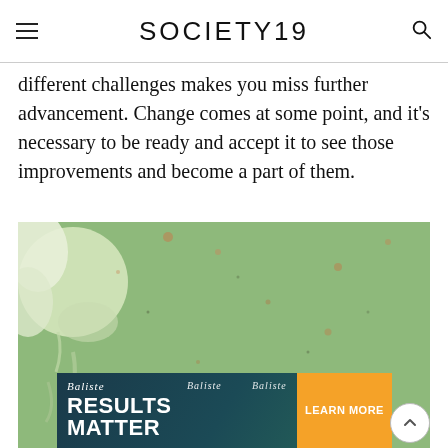SOCIETY19
different challenges makes you miss further advancement. Change comes at some point, and it's necessary to be ready and accept it to see those improvements and become a part of them.
[Figure (photo): Green painted wall with peeling white paint and small stains/spots. An advertisement banner for Batiste hair products is overlaid at the bottom showing 'RESULTS MATTER' and 'LEARN MORE' with a back-to-top arrow button on the right.]